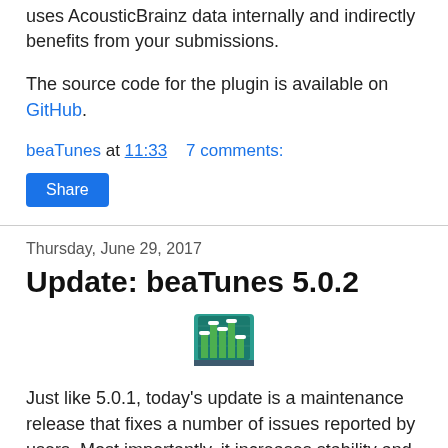uses AcousticBrainz data internally and indirectly benefits from your submissions.
The source code for the plugin is available on GitHub.
beaTunes at 11:33    7 comments:
Share
Thursday, June 29, 2017
Update: beaTunes 5.0.2
[Figure (illustration): beaTunes application icon showing a bar graph equalizer style image]
Just like 5.0.1, today's update is a maintenance release that fixes a number of issues reported by users. Most importantly, it increases stability and reduces memory consumption. If you are already using beaTunes 5, I highly recommend updating.
As always, you can download the new version from the